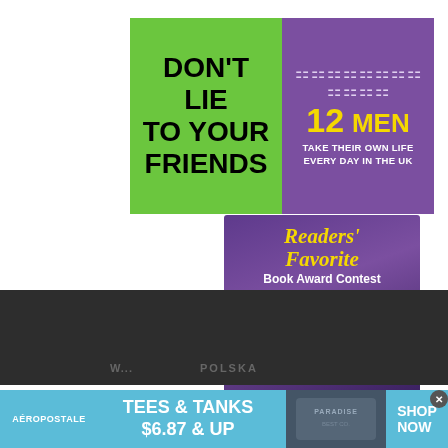[Figure (infographic): Green box with black bold text 'DON'T LIE TO YOUR FRIENDS' next to purple box with person icons and yellow text '12 MEN' and white text 'TAKE THEIR OWN LIFE EVERY DAY IN THE UK']
[Figure (infographic): Readers' Favorite Book Award Contest banner with yellow italic title, white subtitle 'Book Award Contest', three medals, and yellow 'ENTER TODAY' button]
[Figure (infographic): Dark background section with partial text visible]
[Figure (infographic): Aeropostale advertisement banner: blue background with brand name AEROPOSTALE, TEES & TANKS $6.87 & UP, clothing image, and SHOP NOW text with close button]